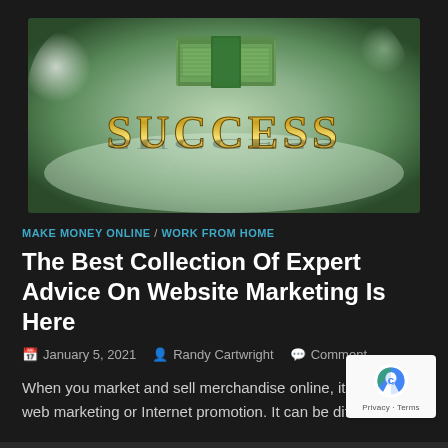[Figure (photo): Decorative image showing a stack of US dollar bills with gold 3D SUCCESS text on a green bokeh background]
MAKE MONEY ONLINE / WORK FROM HOME
The Best Collection Of Expert Advice On Website Marketing Is Here
January 5, 2021   Randy Cartwright   Comment
When you market and sell merchandise online, it is called web marketing or Internet promotion. It can be difficult for ...